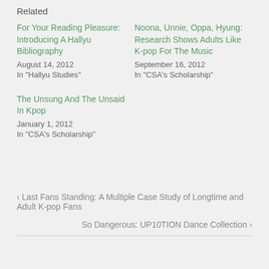Related
For Your Reading Pleasure: Introducing A Hallyu Bibliography
August 14, 2012
In "Hallyu Studies"
Noona, Unnie, Oppa, Hyung: Research Shows Adults Like K-pop For The Music
September 16, 2012
In "CSA's Scholarship"
The Unsung And The Unsaid In Kpop
January 1, 2012
In "CSA's Scholarship"
< Last Fans Standing: A Multiple Case Study of Longtime and Adult K-pop Fans
So Dangerous: UP10TION Dance Collection >